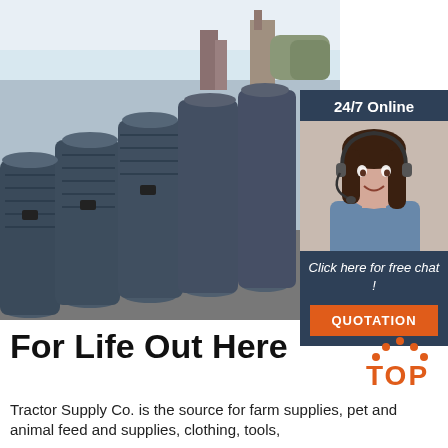[Figure (photo): Industrial steel rebar rods stacked in large bundles outdoors, with factory/industrial buildings visible in background. Wide photo spanning most of the upper portion of the page.]
[Figure (infographic): Dark navy blue panel with '24/7 Online' header text in white, photo of smiling brunette woman wearing a headset/microphone (customer service representative), text 'Click here for free chat !' in white italic, and an orange button labeled 'QUOTATION' in white uppercase letters.]
For Life Out Here
[Figure (logo): Orange and dark 'TOP' logo with dotted arc/triangle above the word TOP in bold orange text]
Tractor Supply Co. is the source for farm supplies, pet and animal feed and supplies, clothing, tools,